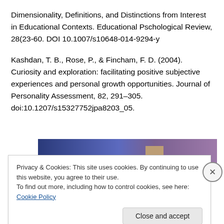Dimensionality, Definitions, and Distinctions from Interest in Educational Contexts. Educational Pschological Review, 28(23-60. DOI 10.1007/s10648-014-9294-y
Kashdan, T. B., Rose, P., & Fincham, F. D. (2004). Curiosity and exploration: facilitating positive subjective experiences and personal growth opportunities. Journal of Personality Assessment, 82, 291–305. doi:10.1207/s15327752jpa8203_05.
[Figure (photo): Gradient banner image transitioning from dark blue on the left to purple/mauve on the right, with a small tan/beige rectangle visible near the center-right]
Privacy & Cookies: This site uses cookies. By continuing to use this website, you agree to their use.
To find out more, including how to control cookies, see here: Cookie Policy
Close and accept